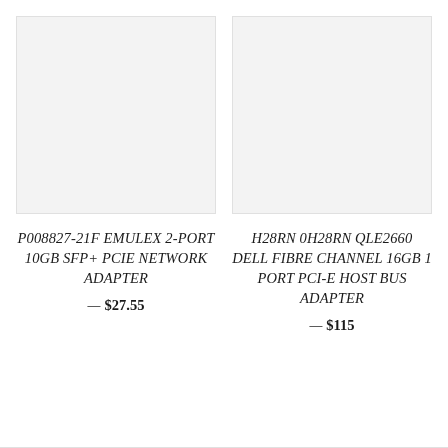[Figure (photo): Product image placeholder — light grey square for Emulex network adapter]
P008827-21F EMULEX 2-PORT 10GB SFP+ PCIE NETWORK ADAPTER — $27.55
[Figure (photo): Product image placeholder — light grey square for Dell Fibre Channel host bus adapter]
H28RN 0H28RN QLE2660 DELL FIBRE CHANNEL 16GB 1 PORT PCI-E HOST BUS ADAPTER — $115